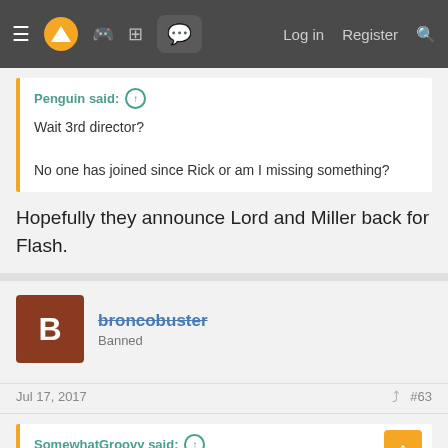Navigation bar with hamburger menu, logo, icons, Log in, Register, Search
Penguin said: ↑
Wait 3rd director?

No one has joined since Rick or am I missing something?
Hopefully they announce Lord and Miller back for Flash.
broncobuster
Banned
Jul 17, 2017  #63
SomewhatGroovy said: ↑

Conan said he was having an interview with the cast of an unannounced movie set to be revealed at comic Con.

I wonder if this is it.